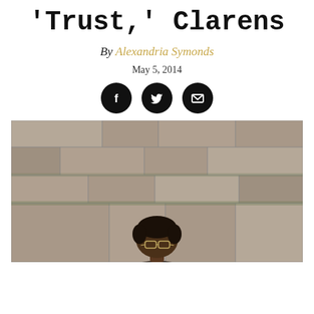'Trust,' Clarens
By Alexandria Symonds
May 5, 2014
[Figure (illustration): Three social sharing icons: Facebook (f), Twitter (bird), and Email (envelope), each in a black circle]
[Figure (photo): A person wearing glasses standing against a stone/brick wall, viewed from the torso up. The wall shows large granite-like blocks with moss or weathering. The photo is in a slightly faded or film-like style.]